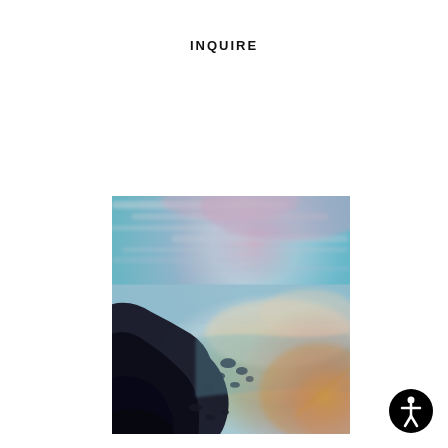INQUIRE
[Figure (photo): Dreamy, soft-focus coastal landscape photograph with vibrant pastel color grading. Shows a dramatic coastline with dark rocky cliffs on the left, a shimmering ocean in the center and right, and a colorful sky with streaked clouds in hues of pink, blue, teal, and golden light. Lens flare visible in bottom right corner. Lomo or film camera aesthetic.]
Florian Maier-Aichen